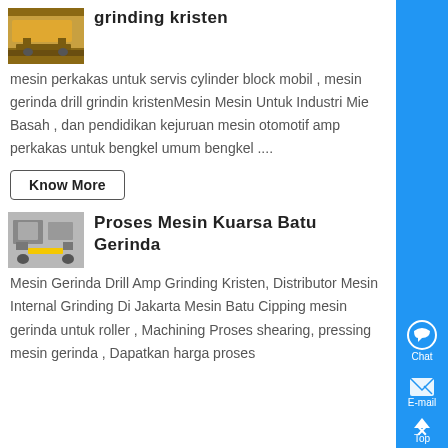grinding kristen
mesin perkakas untuk servis cylinder block mobil , mesin gerinda drill grinding kristenMesin Mesin Untuk Industri Mie Basah , dan pendidikan kejuruan mesin otomotif amp perkakas untuk bengkel umum bengkel ....
Know More
Proses Mesin Kuarsa Batu Gerinda
Mesin Gerinda Drill Amp Grinding Kristen, Distributor Mesin Internal Grinding Di Jakarta Mesin Batu Cipping mesin gerinda untuk roller , Machining Proses shearing, pressing mesin gerinda , Dapatkan harga proses